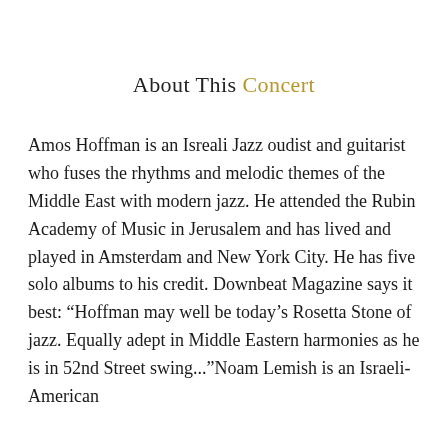About This Concert
Amos Hoffman is an Isreali Jazz oudist and guitarist who fuses the rhythms and melodic themes of the Middle East with modern jazz. He attended the Rubin Academy of Music in Jerusalem and has lived and played in Amsterdam and New York City. He has five solo albums to his credit. Downbeat Magazine says it best: “Hoffman may well be today’s Rosetta Stone of jazz. Equally adept in Middle Eastern harmonies as he is in 52nd Street swing...”Noam Lemish is an Israeli-American